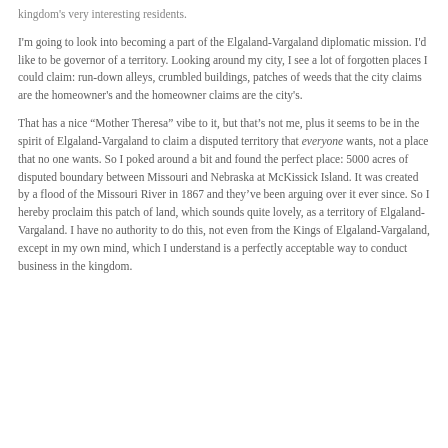kingdom's very interesting residents.
I'm going to look into becoming a part of the Elgaland-Vargaland diplomatic mission. I'd like to be governor of a territory. Looking around my city, I see a lot of forgotten places I could claim: run-down alleys, crumbled buildings, patches of weeds that the city claims are the homeowner's and the homeowner claims are the city's.
That has a nice “Mother Theresa” vibe to it, but that’s not me, plus it seems to be in the spirit of Elgaland-Vargaland to claim a disputed territory that everyone wants, not a place that no one wants. So I poked around a bit and found the perfect place: 5000 acres of disputed boundary between Missouri and Nebraska at McKissick Island. It was created by a flood of the Missouri River in 1867 and they’ve been arguing over it ever since. So I hereby proclaim this patch of land, which sounds quite lovely, as a territory of Elgaland-Vargaland. I have no authority to do this, not even from the Kings of Elgaland-Vargaland, except in my own mind, which I understand is a perfectly acceptable way to conduct business in the kingdom.